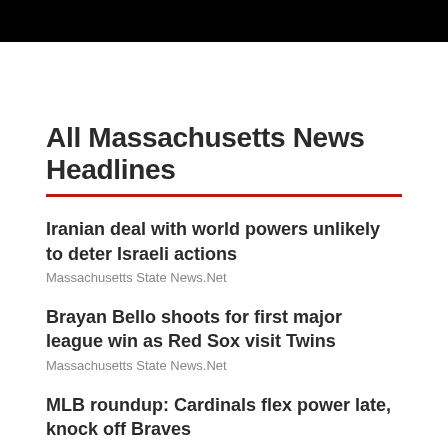[Figure (other): Black banner bar at top of page]
All Massachusetts News Headlines
Iranian deal with world powers unlikely to deter Israeli actions
Massachusetts State News.Net
Brayan Bello shoots for first major league win as Red Sox visit Twins
Massachusetts State News.Net
MLB roundup: Cardinals flex power late, knock off Braves
Massachusetts State News.Net
Fuel move within lash of top spot in Summer Showdown qualifying